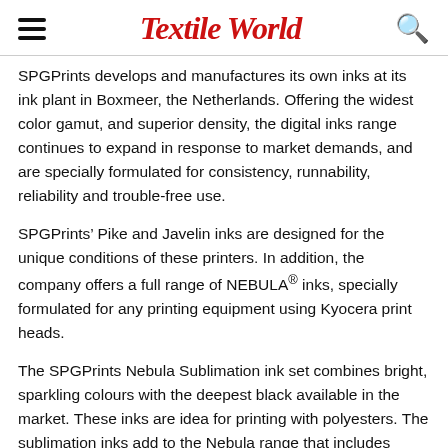Textile World
SPGPrints develops and manufactures its own inks at its ink plant in Boxmeer, the Netherlands. Offering the widest color gamut, and superior density, the digital inks range continues to expand in response to market demands, and are specially formulated for consistency, runnability, reliability and trouble-free use.
SPGPrints’ Pike and Javelin inks are designed for the unique conditions of these printers. In addition, the company offers a full range of NEBULA® inks, specially formulated for any printing equipment using Kyocera print heads.
The SPGPrints Nebula Sublimation ink set combines bright, sparkling colours with the deepest black available in the market. These inks are idea for printing with polyesters. The sublimation inks add to the Nebula range that includes Nebula Direct…